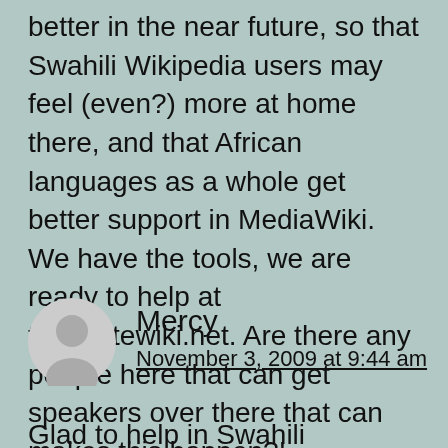better in the near future, so that Swahili Wikipedia users may feel (even?) more at home there, and that African languages as a whole get better support in MediaWiki. We have the tools, we are ready to help at translatewiki.net. Are there any people here that can get speakers over there that can makes this happen?!
Mercy
November 3, 2009 at 9:44 am
Glad to help in Swahili translation or any other